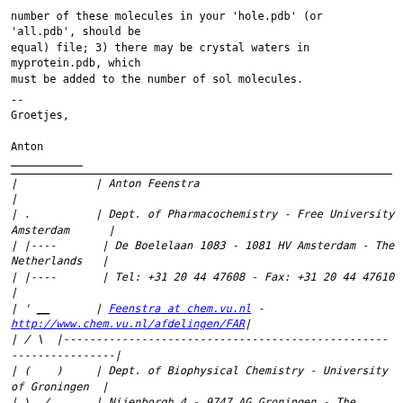number of these molecules in your 'hole.pdb' (or
'all.pdb', should be
equal) file; 3) there may be crystal waters in
myprotein.pdb, which
must be added to the number of sol molecules.
--
Groetjes,

Anton
| Anton Feenstra
|
| . | Dept. of Pharmacochemistry - Free University Amsterdam |
| |---- | De Boelelaan 1083 - 1081 HV Amsterdam - The Netherlands |
| |---- | Tel: +31 20 44 47608 - Fax: +31 20 44 47610
|
| ' __ | Feenstra at chem.vu.nl - http://www.chem.vu.nl/afdelingen/FAR|
| / \ |-------------------------------------------------------|
| ( ) | Dept. of Biophysical Chemistry - University of Groningen |
| \__/ | Nijenborgh 4 - 9747 AG Groningen - The Netherlands |
| __ | Tel +31 50 363 4327 - Fax +31 50 363 4800
|